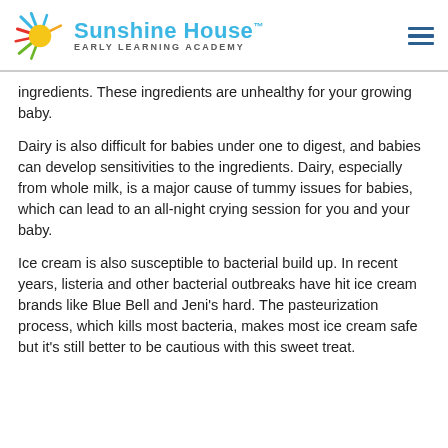Sunshine House™ EARLY LEARNING ACADEMY
ingredients. These ingredients are unhealthy for your growing baby.
Dairy is also difficult for babies under one to digest, and babies can develop sensitivities to the ingredients. Dairy, especially from whole milk, is a major cause of tummy issues for babies, which can lead to an all-night crying session for you and your baby.
Ice cream is also susceptible to bacterial build up. In recent years, listeria and other bacterial outbreaks have hit ice cream brands like Blue Bell and Jeni's hard. The pasteurization process, which kills most bacteria, makes most ice cream safe but it's still better to be cautious with this sweet treat.